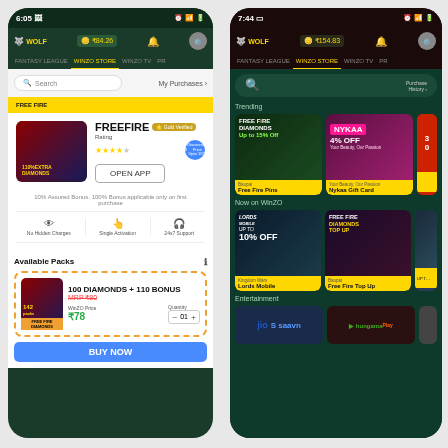[Figure (screenshot): Left phone screenshot: WinZO Store app showing FreeFire game page with Available Packs — 100 Diamonds + 110 Bonus at ₹78 WinZO Price (MRP ₹80), Buy Now button, app details with Gold Verified badge, 4-star rating, Discounted Price Up to 15%, No Hidden Charges, Single Activation, 24x7 Support features, time 6:05, balance ₹84.26]
[Figure (screenshot): Right phone screenshot: WinZO Store app home showing trending products — Free Fire Diamonds (Up to 15% Off, Free Fire Pins), Nykaa (4% OFF, Nykaa Gift Card), partial third card; Now on WinZO section — Lords Mobile (UP TO 10% OFF, Kingdom Wars), Free Fire Diamonds Top Up (Baupai, Free Fire Top Up), partial third; Entertainment section with JioSaavn and Hungama Play cards; time 7:44, balance ₹154.83]